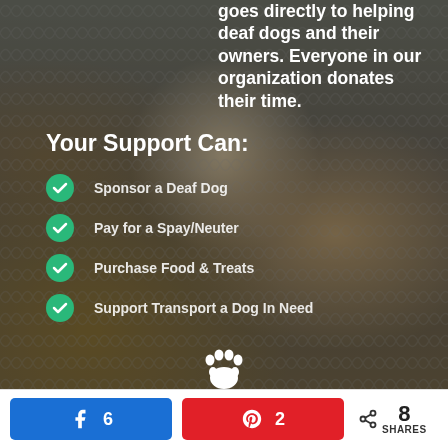[Figure (photo): Background photo of dogs behind a chain-link fence, darkened with overlay]
goes directly to helping deaf dogs and their owners. Everyone in our organization donates their time.
Your Support Can:
Sponsor a Deaf Dog
Pay for a Spay/Neuter
Purchase Food & Treats
Support Transport a Dog In Need
[Figure (illustration): White paw print icon]
k 6
A 2
8 SHARES